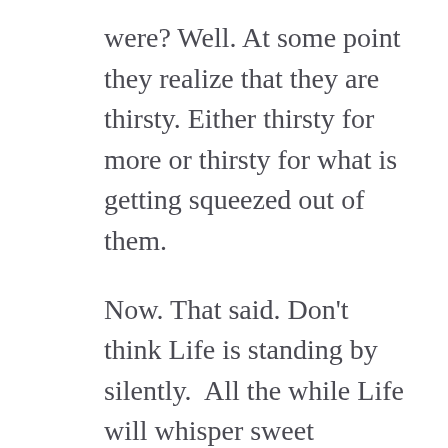were? Well. At some point they realize that they are thirsty. Either thirsty for more or thirsty for what is getting squeezed out of them.
Now. That said. Don't think Life is standing by silently.  All the while Life will whisper sweet nothings in that kid's ear telling them what to drink to stay on their path to a 'better person' <and it is most likely the sweetest, least healthy alternative>.
Look. At some point we all get thirsty, even that young bully, and your Life gets